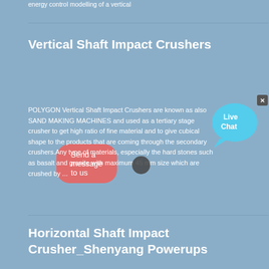energy control modelling of a vertical
Vertical Shaft Impact Crushers
[Figure (other): Salmon/coral rounded rectangle button with text 'Send a message to us']
POLYGON Vertical Shaft Impact Crushers are known as also SAND MAKING MACHINES and used as a tertiary stage crusher to get high ratio of fine material and to give cubical shape to the products that are coming through the secondary crushers.Any type of materials, especially the hard stones such as basalt and granite with maximum 45 mm size which are crushed by ...
[Figure (other): Live Chat widget bubble in cyan/teal color with 'Live Chat' text, with an X close button]
Horizontal Shaft Impact Crusher_Shenyang Powerups